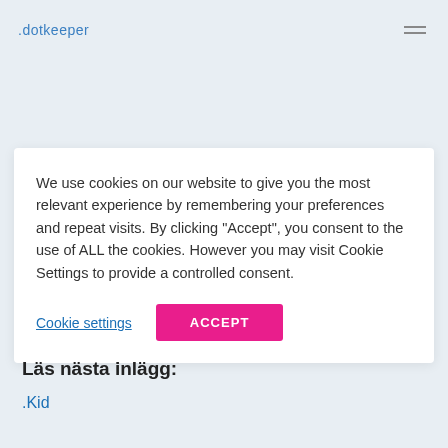.dotkeeper
We use cookies on our website to give you the most relevant experience by remembering your preferences and repeat visits. By clicking "Accept", you consent to the use of ALL the cookies. However you may visit Cookie Settings to provide a controlled consent.
Cookie settings   ACCEPT
Läs nästa inlägg:
.Kid